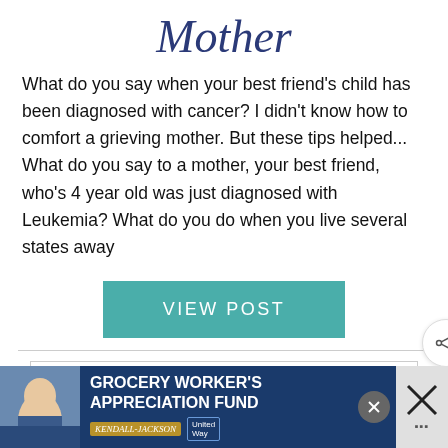Mother
What do you say when your best friend's child has been diagnosed with cancer? I didn't know how to comfort a grieving mother. But these tips helped... What do you say to a mother, your best friend, who's 4 year old was just diagnosed with Leukemia? What do you do when you live several states away
VIEW POST
I use cookies on this site to personalize content and ads, to provide social media features and to analyze traffic. I also share information about your use of our site with our social media, advertising, and analytics partners who may combine it with other information that you've provided to the that they've collected from your use of their services. Privacy & Cookie Policy
[Figure (screenshot): Advertisement banner for Grocery Worker's Appreciation Fund with Kendall-Jackson and United Way logos, with a close button and share/heart social icons on the right side]
[Figure (infographic): Green heart button and share button with count 1 overlaid on cookie consent box]